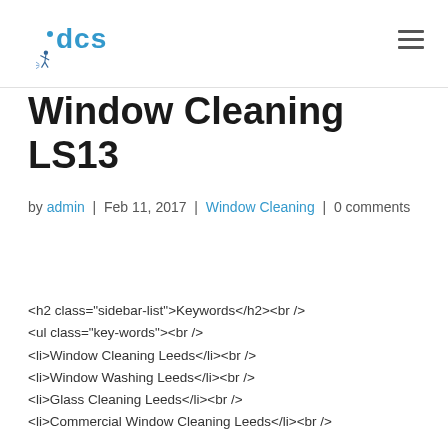dcs
Window Cleaning LS13
by admin | Feb 11, 2017 | Window Cleaning | 0 comments
<h2 class="sidebar-list">Keywords</h2><br />
<ul class="key-words"><br />
<li>Window Cleaning Leeds</li><br />
<li>Window Washing Leeds</li><br />
<li>Glass Cleaning Leeds</li><br />
<li>Commercial Window Cleaning Leeds</li><br />